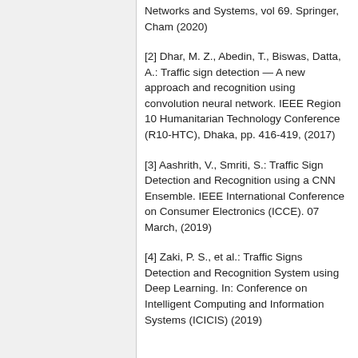Networks and Systems, vol 69. Springer, Cham (2020)
[2] Dhar, M. Z., Abedin, T., Biswas, Datta, A.: Traffic sign detection — A new approach and recognition using convolution neural network. IEEE Region 10 Humanitarian Technology Conference (R10-HTC), Dhaka, pp. 416-419, (2017)
[3] Aashrith, V., Smriti, S.: Traffic Sign Detection and Recognition using a CNN Ensemble. IEEE International Conference on Consumer Electronics (ICCE). 07 March, (2019)
[4] Zaki, P. S., et al.: Traffic Signs Detection and Recognition System using Deep Learning. In: Conference on Intelligent Computing and Information Systems (ICICIS) (2019)